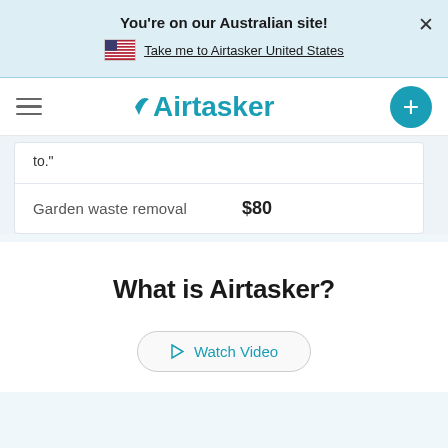You're on our Australian site!
Take me to Airtasker United States
[Figure (logo): Airtasker logo with hamburger menu and plus button navigation bar]
to."
| Garden waste removal | $80 |
What is Airtasker?
Watch Video